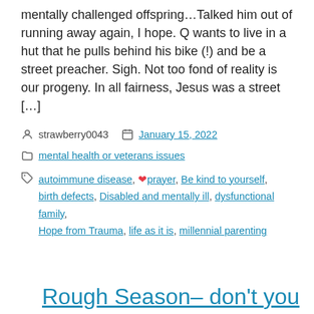mentally challenged offspring…Talked him out of running away again, I hope. Q wants to live in a hut that he pulls behind his bike (!) and be a street preacher. Sigh. Not too fond of reality is our progeny. In all fairness, Jesus was a street […]
strawberry0043   January 15, 2022
mental health or veterans issues
autoimmune disease, ❤prayer, Be kind to yourself, birth defects, Disabled and mentally ill, dysfunctional family, Hope from Trauma, life as it is, millennial parenting
Rough Season– don't you